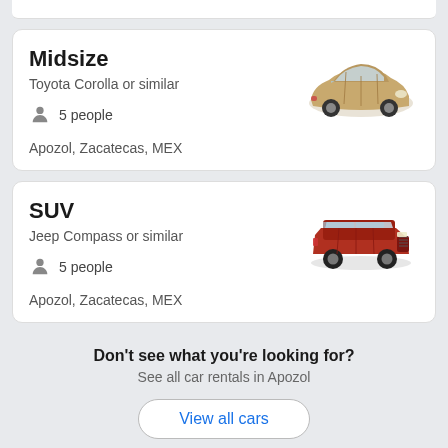Midsize
Toyota Corolla or similar
5 people
Apozol, Zacatecas, MEX
[Figure (illustration): Gold/beige Toyota Corolla sedan, front 3/4 view]
SUV
Jeep Compass or similar
5 people
Apozol, Zacatecas, MEX
[Figure (illustration): Red Jeep Compass SUV, front 3/4 view]
Don't see what you're looking for?
See all car rentals in Apozol
View all cars